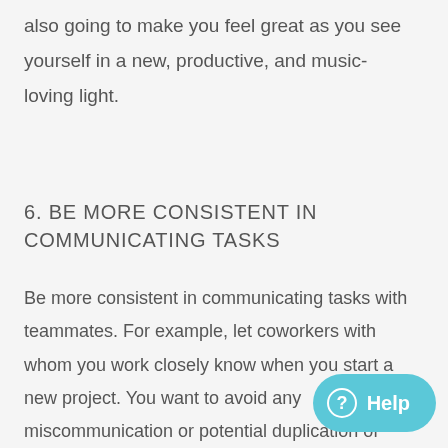also going to make you feel great as you see yourself in a new, productive, and music-loving light.
6. BE MORE CONSISTENT IN COMMUNICATING TASKS
Be more consistent in communicating tasks with teammates. For example, let coworkers with whom you work closely know when you start a new project. You want to avoid any miscommunication or potential duplication of project efforts.
This goes back to the idea that productivity is not just about getting things done; it is about getting things done with a purpose. Knowing that you